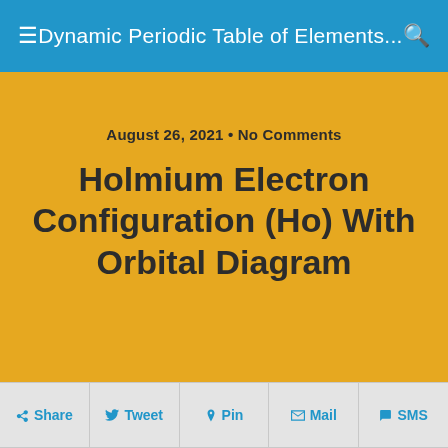Dynamic Periodic Table of Elements...
August 26, 2021 • No Comments
Holmium Electron Configuration (Ho) With Orbital Diagram
Share  Tweet  Pin  Mail  SMS